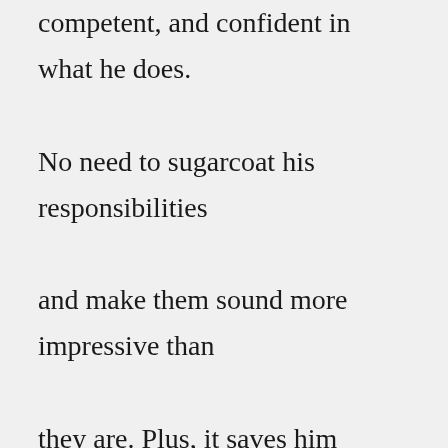competent, and confident in what he does. No need to sugarcoat his responsibilities and make them sound more impressive than they are. Plus, it saves him valuable resume space.The Smart Brabus Electric Drive incorporates a gadget that may save the lives of the visually challenged--a sound generator that mimics the noise made by a traditional internal combustion engine.The content inflator is quick and simple to use. Simply either attach writing as a file or